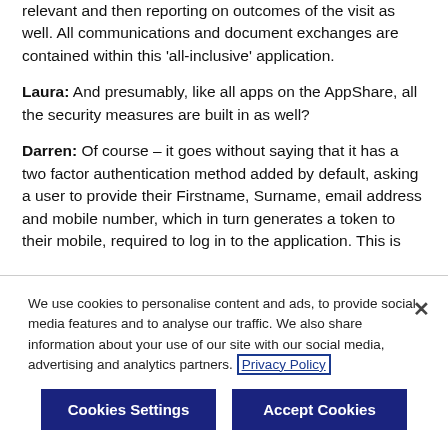relevant and then reporting on outcomes of the visit as well. All communications and document exchanges are contained within this 'all-inclusive' application.
Laura: And presumably, like all apps on the AppShare, all the security measures are built in as well?
Darren: Of course – it goes without saying that it has a two factor authentication method added by default, asking a user to provide their Firstname, Surname, email address and mobile number, which in turn generates a token to their mobile, required to log in to the application. This is
We use cookies to personalise content and ads, to provide social media features and to analyse our traffic. We also share information about your use of our site with our social media, advertising and analytics partners. Privacy Policy
Cookies Settings
Accept Cookies